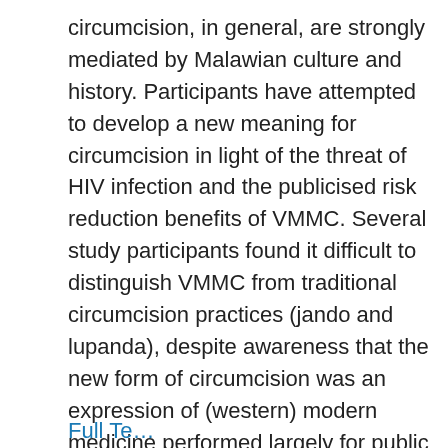circumcision, in general, are strongly mediated by Malawian culture and history. Participants have attempted to develop a new meaning for circumcision in light of the threat of HIV infection and the publicised risk reduction benefits of VMMC. Several study participants found it difficult to distinguish VMMC from traditional circumcision practices (jando and lupanda), despite awareness that the new form of circumcision was an expression of (western) modern medicine performed largely for public health purposes. Greater recognition of background cultural beliefs and practices could inform future efforts to promote medical male circumcision as an HIV prevention strategy in this context.
Full Text...